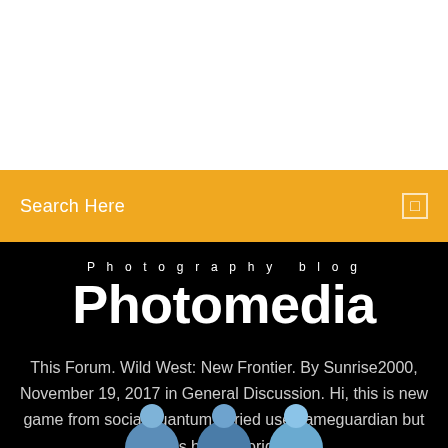[Figure (screenshot): White banner/header area at top of page]
Search Here
Photography blog Photomedia
This Forum. Wild West: New Frontier. By Sunrise2000, November 19, 2017 in General Discussion. Hi, this is new game from social quantum. I tried use gameguardian but values back to original..
[Figure (illustration): Three blue circular avatar icons at the bottom of the page]